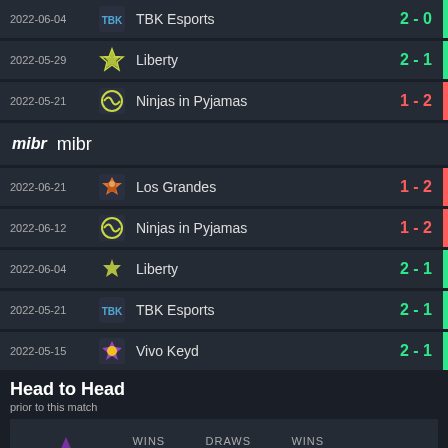2022-06-04 TBK Esports 2 - 0
2022-05-29 Liberty 2 - 1
2022-05-21 Ninjas in Pyjamas 1 - 2
mibr
2022-06-21 Los Grandes 1 - 2
2022-06-12 Ninjas in Pyjamas 1 - 2
2022-06-04 Liberty 2 - 1
2022-05-21 TBK Esports 2 - 1
2022-05-15 Vivo Keyd 2 - 1
Head to Head
prior to this match
| WINS | DRAWS | WINS |
| --- | --- | --- |
| 0 | 0 | 1 |